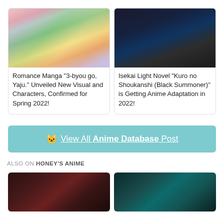[Figure (screenshot): Manga cover art for 3-byou go, Yaju with colorful anime characters]
Romance Manga "3-byou go, Yaju." Unveiled New Visual and Characters, Confirmed for Spring 2022!
[Figure (screenshot): Dark anime screenshot for Kuro no Shoukanshi (Black Summoner) showing a character with horns]
Isekai Light Novel "Kuro no Shoukanshi (Black Summoner)" is Getting Anime Adaptation in 2022!
🐱 View All Anime Database Post
ALSO ON HONEY'S ANIME
[Figure (screenshot): Bottom left anime thumbnail showing a dark-haired character]
[Figure (screenshot): Bottom right anime thumbnail showing a character with teal background]